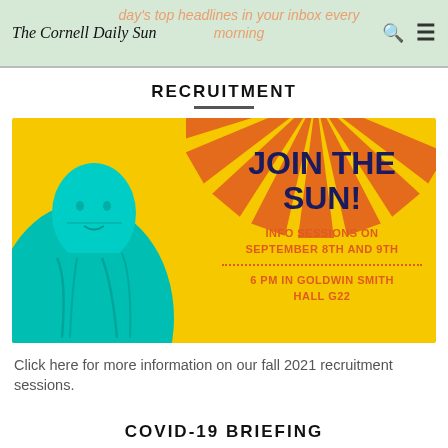day's top headlines in your inbox every morning — The Cornell Daily Sun
RECRUITMENT
[Figure (infographic): Recruitment poster for The Cornell Daily Sun. Yellow background with orange sunburst rays. Teal/cyan illustration of a classical bust (Ezra Cornell statue). Text reads: JOIN THE SUN! INFO SESSIONS ON SEPTEMBER 8TH AND 9TH · 6 PM IN GOLDWIN SMITH HALL G22]
Click here for more information on our fall 2021 recruitment sessions.
COVID-19 BRIEFING